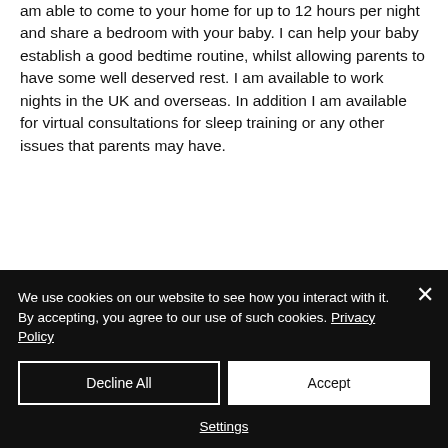am able to come to your home for up to 12 hours per night and share a bedroom with your baby. I can help your baby establish a good bedtime routine, whilst allowing parents to have some well deserved rest. I am available to work nights in the UK and overseas. In addition I am available for virtual consultations for sleep training or any other issues that parents may have.
[Figure (photo): A smiling blonde woman holding a baby with reddish-brown hair against a light blue/grey background.]
We use cookies on our website to see how you interact with it. By accepting, you agree to our use of such cookies. Privacy Policy
Decline All
Accept
Settings